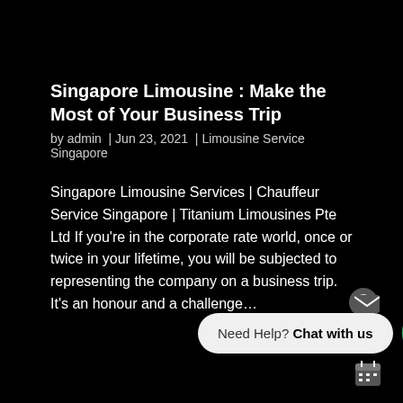Singapore Limousine : Make the Most of Your Business Trip
by admin  |  Jun 23, 2021  |  Limousine Service Singapore
Singapore Limousine Services | Chauffeur Service Singapore | Titanium Limousines Pte Ltd If you're in the corporate rate world, once or twice in your lifetime, you will be subjected to representing the company on a business trip. It's an honour and a challenge...
[Figure (screenshot): WhatsApp chat widget with 'Need Help? Chat with us' bubble and green WhatsApp button with phone icon, plus messenger, mail, and calendar floating icons on the right side]